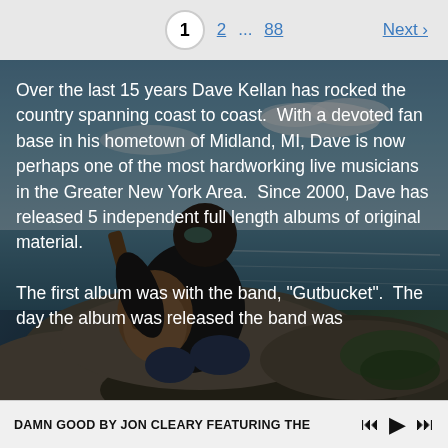1  2  ...  88  Next ›
[Figure (photo): Musician (Dave Kellan) sitting on rocks by the ocean playing an acoustic guitar, wearing sunglasses and a dark t-shirt, with a blue sky and water in the background.]
Over the last 15 years Dave Kellan has rocked the country spanning coast to coast.  With a devoted fan base in his hometown of Midland, MI, Dave is now perhaps one of the most hardworking live musicians in the Greater New York Area.  Since 2000, Dave has released 5 independent full length albums of original material.

The first album was with the band, "Gutbucket".  The day the album was released the band was
DAMN GOOD BY JON CLEARY FEATURING THE  |◄◄  ▶  ►|